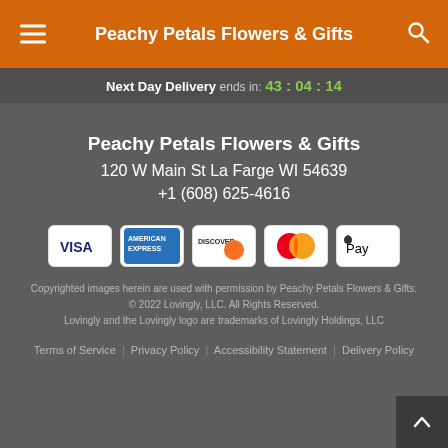Peachy Petals Flowers & Gifts
Next Day Delivery ends in: 43 : 04 : 14
Peachy Petals Flowers & Gifts
120 W Main St La Farge WI 54639
+1 (608) 625-4616
[Figure (other): Payment method icons: Visa, American Express, Discover, Mastercard, Apple Pay]
Copyrighted images herein are used with permission by Peachy Petals Flowers & Gifts.
© 2022 Lovingly, LLC. All Rights Reserved.
Lovingly and the Lovingly logo are trademarks of Lovingly Holdings, LLC
Terms of Service | Privacy Policy | Accessibility Statement | Delivery Policy